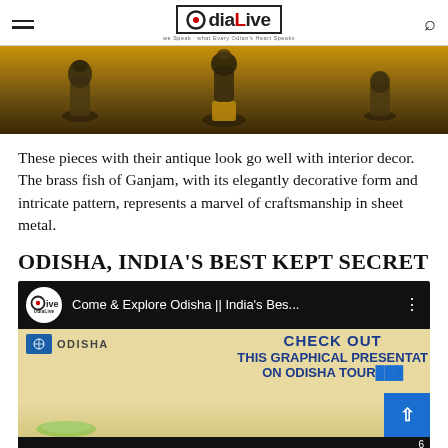OdiaLive — navigation header with hamburger menu and search icon
[Figure (photo): Antique bronze/brass artifact figurines displayed on pedestals against a warm amber/brown background]
These pieces with their antique look go well with interior decor. The brass fish of Ganjam, with its elegantly decorative form and intricate pattern, represents a marvel of craftsmanship in sheet metal.
ODISHA, INDIA'S BEST KEPT SECRET
[Figure (screenshot): Embedded YouTube-style video player showing OdiaLive channel. Title: Come & Explore Odisha || India's Bes... Thumbnail shows Odisha tourism graphical presentation with text: CHECK OUT THIS GRAPHICAL PRESENTATION ON ODISHA TOURISM]